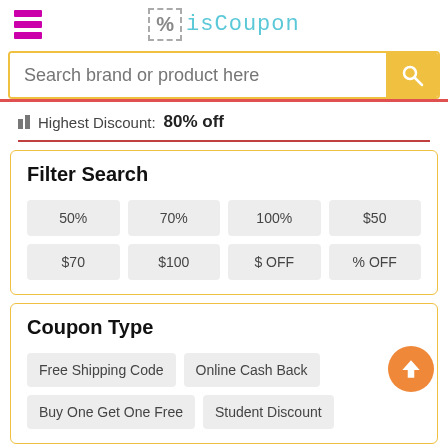[Figure (logo): isCoupon logo with percent symbol in dashed box and menu icon]
Search brand or product here
Highest Discount: 80% off
Filter Search
50%
70%
100%
$50
$70
$100
$ OFF
% OFF
Coupon Type
Free Shipping Code
Online Cash Back
Buy One Get One Free
Student Discount